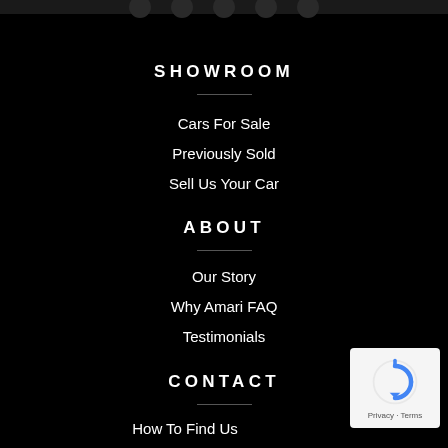SHOWROOM
Cars For Sale
Previously Sold
Sell Us Your Car
ABOUT
Our Story
Why Amari FAQ
Testimonials
CONTACT
How To Find Us